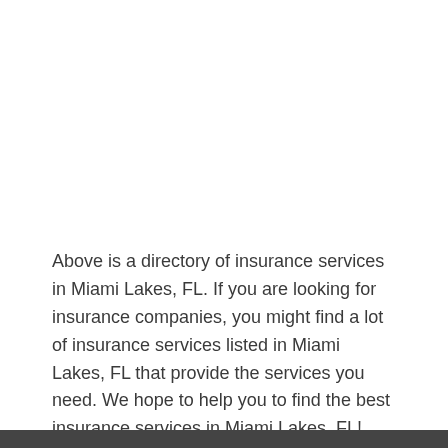Above is a directory of insurance services in Miami Lakes, FL. If you are looking for insurance companies, you might find a lot of insurance services listed in Miami Lakes, FL that provide the services you need. We hope to help you to find the best insurance services in Miami Lakes, FL!